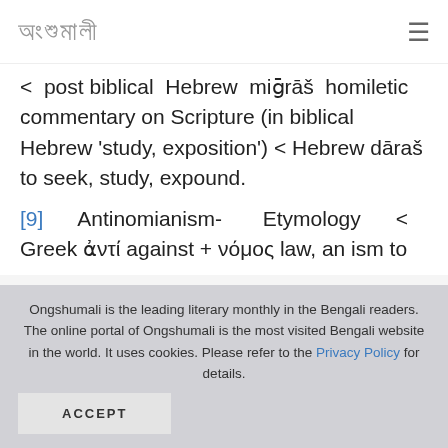অংশুমালী [logo] ≡ [menu]
< post biblical Hebrew miḡrāš homiletic commentary on Scripture (in biblical Hebrew 'study, exposition') < Hebrew dāraš to seek, study, expound.
[9]    Antinomianism- Etymology < Greek ἀντί against + νόμος law, an ism to
Ongshumali is the leading literary monthly in the Bengali readers. The online portal of Ongshumali is the most visited Bengali website in the world. It uses cookies. Please refer to the Privacy Policy for details.
ACCEPT